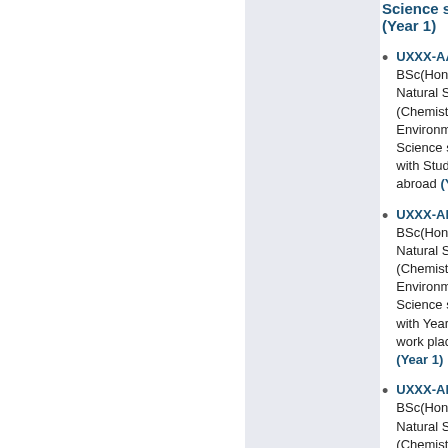Science stream (Year 1)
UXXX-AAB02 BSc(Hons) Natural Science (Chemistry with Environmental Science stream with Study year abroad (Year
UXXX-AKB02 BSc(Hons) Natural Science (Chemistry with Environmental Science stream with Year long work placement (Year 1)
UXXX-AFB01 BSc(Hons) Natural Science (Chemistry with Pharmacology stream) (Year
UXXX-AAB02 BSc(Hons) Natural Science (Chemistry wi